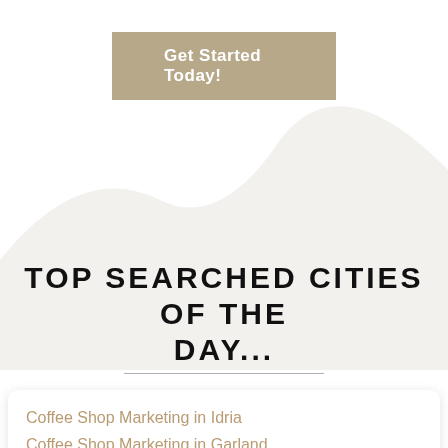Get Started Today!
[Figure (illustration): Light grey mountain/hill silhouette background shape]
TOP SEARCHED CITIES OF THE DAY...
Coffee Shop Marketing in Idria
Coffee Shop Marketing in Garland
Coffee Shop Marketing in Norco
Coffee Shop Marketing in Tilford